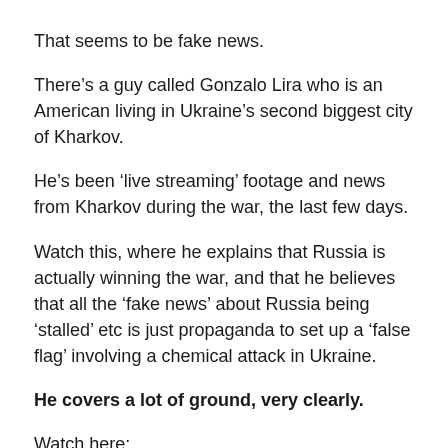That seems to be fake news.
There’s a guy called Gonzalo Lira who is an American living in Ukraine’s second biggest city of Kharkov.
He’s been ‘live streaming’ footage and news from Kharkov during the war, the last few days.
Watch this, where he explains that Russia is actually winning the war, and that he believes that all the ‘fake news’ about Russia being ‘stalled’ etc is just propaganda to set up a ‘false flag’ involving a chemical attack in Ukraine.
He covers a lot of ground, very clearly.
Watch here: